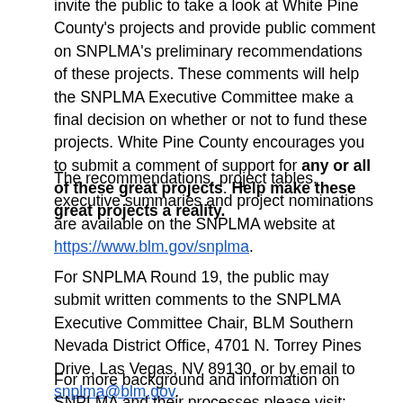invite the public to take a look at White Pine County's projects and provide public comment on SNPLMA's preliminary recommendations of these projects. These comments will help the SNPLMA Executive Committee make a final decision on whether or not to fund these projects. White Pine County encourages you to submit a comment of support for any or all of these great projects. Help make these great projects a reality.
The recommendations, project tables, executive summaries and project nominations are available on the SNPLMA website at https://www.blm.gov/snplma.
For SNPLMA Round 19, the public may submit written comments to the SNPLMA Executive Committee Chair, BLM Southern Nevada District Office, 4701 N. Torrey Pines Drive, Las Vegas, NV 89130, or by email to snplma@blm.gov.
For more background and information on SNPLMA and their processes please visit: https://www.blm.gov/snplma